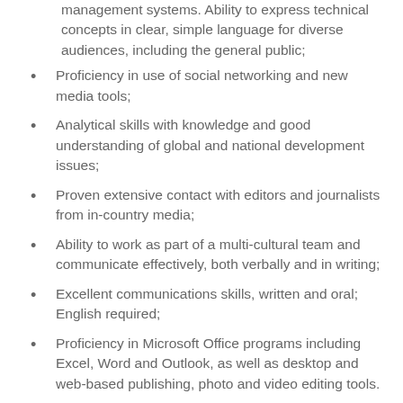management systems. Ability to express technical concepts in clear, simple language for diverse audiences, including the general public;
Proficiency in use of social networking and new media tools;
Analytical skills with knowledge and good understanding of global and national development issues;
Proven extensive contact with editors and journalists from in-country media;
Ability to work as part of a multi-cultural team and communicate effectively, both verbally and in writing;
Excellent communications skills, written and oral; English required;
Proficiency in Microsoft Office programs including Excel, Word and Outlook, as well as desktop and web-based publishing, photo and video editing tools.
Education /Certifications